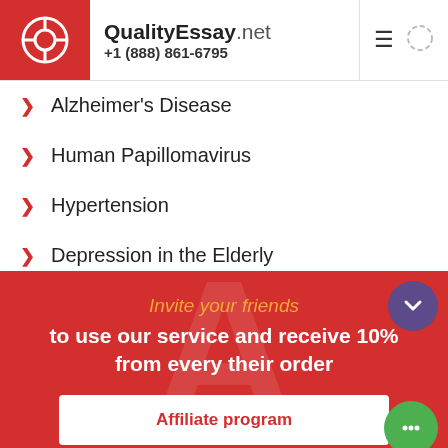QualityEssay.net +1 (888) 861-6795
Alzheimer's Disease
Human Papillomavirus
Hypertension
Depression in the Elderly
Invite your friends to use our service and receive 10% from every their order
Affiliate program